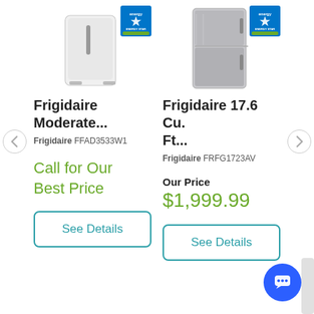[Figure (photo): Frigidaire white dehumidifier with Energy Star badge]
[Figure (photo): Frigidaire stainless steel refrigerator with Energy Star badge]
Frigidaire Moderate...
Frigidaire FFAD3533W1
Call for Our Best Price
See Details
Frigidaire 17.6 Cu. Ft...
Frigidaire FRFG1723AV
Our Price
$1,999.99
See Details